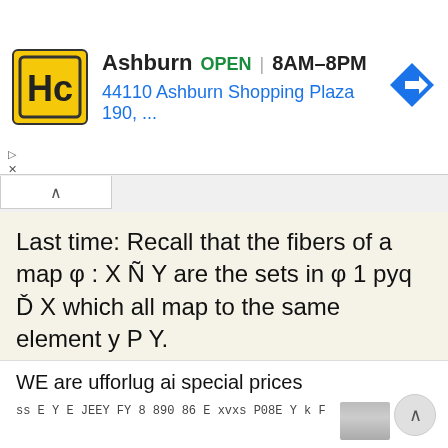[Figure (screenshot): Ad banner for HC store in Ashburn showing logo, open hours 8AM-8PM, address 44110 Ashburn Shopping Plaza 190, and navigation arrow icon]
Last time: Recall that the fibers of a map φ : X Ñ Y are the sets in φ 1 pyq Ď X which all map to the same element y P Y.
Last time: Recall that the fibers of a map φ : X Ñ Y are the sets in φ 1 pyq Ď X which all map to the same element y P Y. Last time: Recall that the fibers of a map φ : X Ñ Y are the sets in φ 1 pyq Ď
More information →
WE are ufforlug ai special prices
ss E Y E JEEY FY 8 890 86 E xvxs P08E Y k F